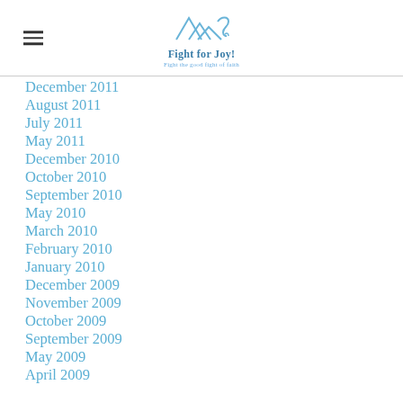Fight for Joy! Fight the good fight of faith
December 2011
August 2011
July 2011
May 2011
December 2010
October 2010
September 2010
May 2010
March 2010
February 2010
January 2010
December 2009
November 2009
October 2009
September 2009
May 2009
April 2009